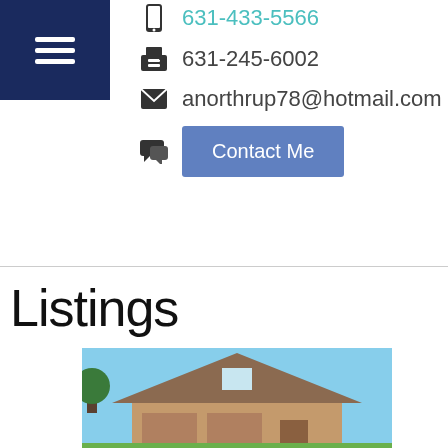631-433-5566
631-245-6002
anorthrup78@hotmail.com
Contact Me
Listings
[Figure (photo): Exterior photo of a house with a triangular roof, brown/red siding, against a blue sky]